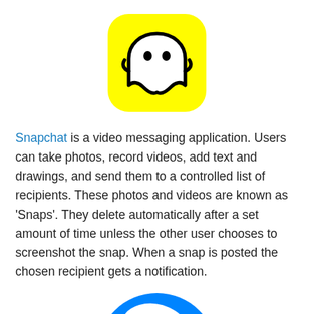[Figure (logo): Snapchat app icon: yellow rounded square background with white ghost outline logo in the center]
Snapchat is a video messaging application. Users can take photos, record videos, add text and drawings, and send them to a controlled list of recipients. These photos and videos are known as 'Snaps'. They delete automatically after a set amount of time unless the other user chooses to screenshot the snap. When a snap is posted the chosen recipient gets a notification.
[Figure (logo): Facebook Messenger app icon: blue circle with white lightning bolt / chat bubble logo]